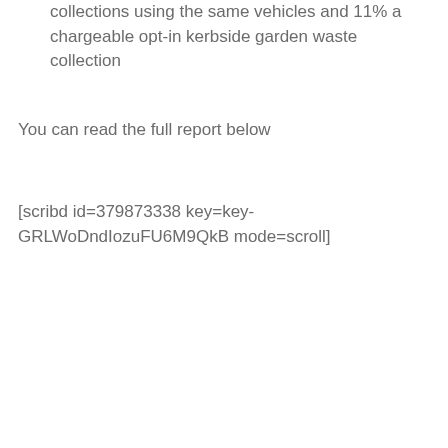collections using the same vehicles and 11% a chargeable opt-in kerbside garden waste collection
You can read the full report below
[scribd id=379873338 key=key-GRLWoDndIozuFU6M9QkB mode=scroll]